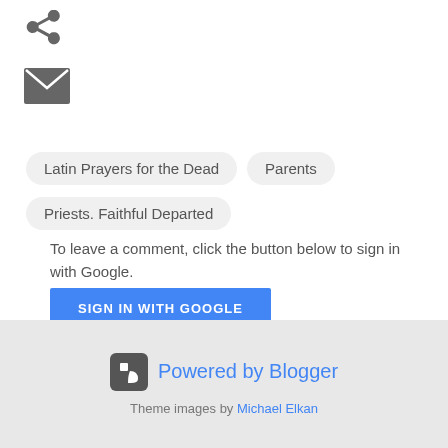[Figure (other): Share icon (less-than/arrow shape) in dark gray]
[Figure (other): Email/envelope icon in dark gray square]
Latin Prayers for the Dead
Parents
Priests. Faithful Departed
To leave a comment, click the button below to sign in with Google.
SIGN IN WITH GOOGLE
Powered by Blogger
Theme images by Michael Elkan